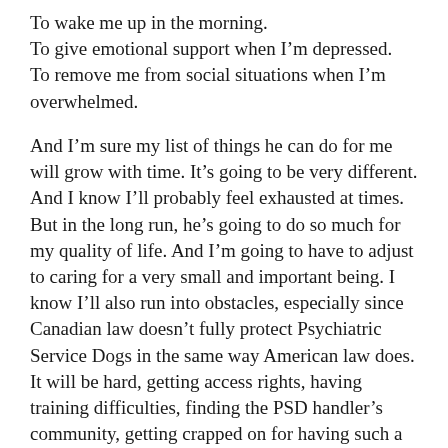To wake me up in the morning.
To give emotional support when I'm depressed.
To remove me from social situations when I'm overwhelmed.
And I'm sure my list of things he can do for me will grow with time. It's going to be very different. And I know I'll probably feel exhausted at times. But in the long run, he's going to do so much for my quality of life. And I'm going to have to adjust to caring for a very small and important being. I know I'll also run into obstacles, especially since Canadian law doesn't fully protect Psychiatric Service Dogs in the same way American law does. It will be hard, getting access rights, having training difficulties, finding the PSD handler's community, getting crapped on for having such a small service dog (Canadians still consider service dogs to be big guys, even though in the States toy breeds are also used), getting crapped on by other people with mental health issues for…